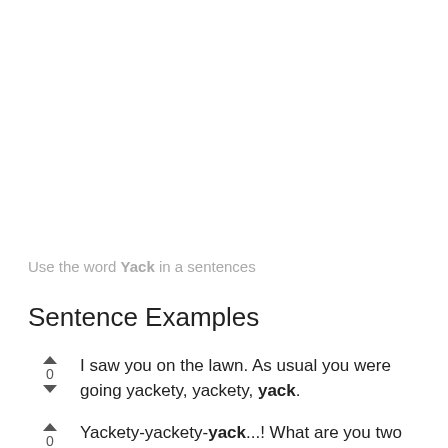Use the word Yack in a sentences
Sentence Examples
I saw you on the lawn. As usual you were going yackety, yackety, yack.
Yackety-yackety-yack...! What are you two talkin' about?